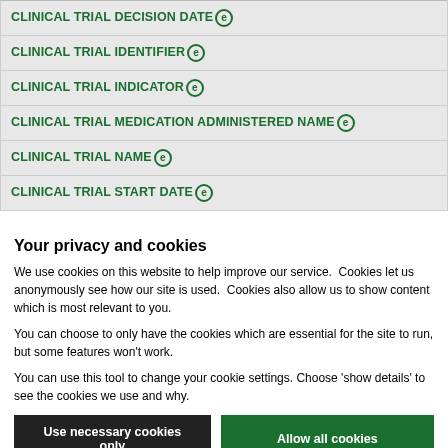| CLINICAL TRIAL DECISION DATE (e) |
| CLINICAL TRIAL IDENTIFIER (e) |
| CLINICAL TRIAL INDICATOR (e) |
| CLINICAL TRIAL MEDICATION ADMINISTERED NAME (e) |
| CLINICAL TRIAL NAME (e) |
| CLINICAL TRIAL START DATE (e) |
Your privacy and cookies
We use cookies on this website to help improve our service. Cookies let us anonymously see how our site is used. Cookies also allow us to show content which is most relevant to you.
You can choose to only have the cookies which are essential for the site to run, but some features won't work.
You can use this tool to change your cookie settings. Choose 'show details' to see the cookies we use and why.
Use necessary cookies only | Allow all cookies
Show details